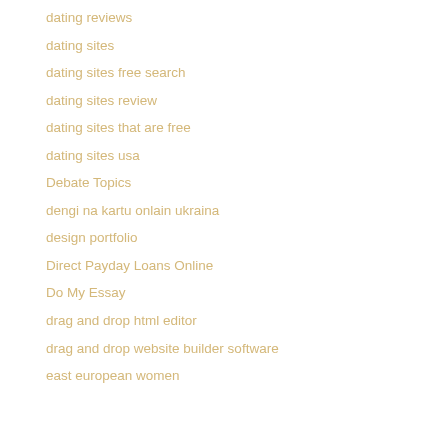dating reviews
dating sites
dating sites free search
dating sites review
dating sites that are free
dating sites usa
Debate Topics
dengi na kartu onlain ukraina
design portfolio
Direct Payday Loans Online
Do My Essay
drag and drop html editor
drag and drop website builder software
east european women